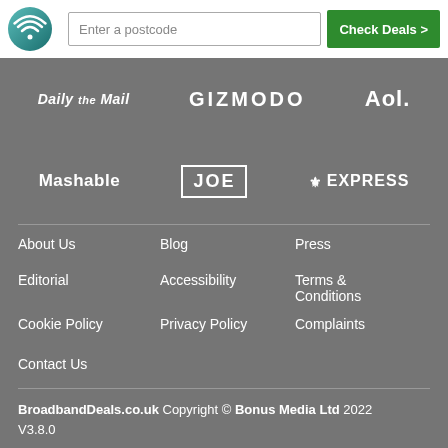[Figure (logo): BroadbandDeals WiFi logo circle with teal background]
Enter a postcode
Check Deals >
[Figure (logo): Media partner logos: Daily Mail, GIZMODO, Aol., Mashable, JOE, EXPRESS]
About Us
Blog
Press
Editorial
Accessibility
Terms & Conditions
Cookie Policy
Privacy Policy
Complaints
Contact Us
BroadbandDeals.co.uk Copyright © Bonus Media Ltd 2022 V3.8.0
Registered in England and Wales at The Media Centre, 7 Northumberland